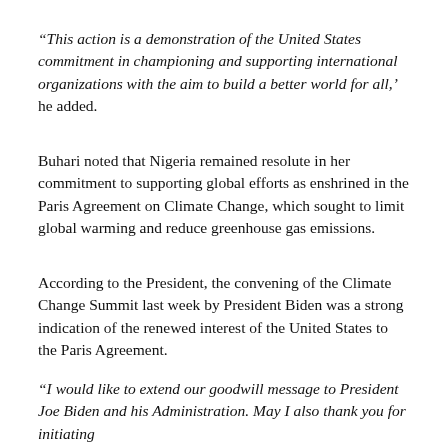“This action is a demonstration of the United States commitment in championing and supporting international organizations with the aim to build a better world for all,’ he added.
Buhari noted that Nigeria remained resolute in her commitment to supporting global efforts as enshrined in the Paris Agreement on Climate Change, which sought to limit global warming and reduce greenhouse gas emissions.
According to the President, the convening of the Climate Change Summit last week by President Biden was a strong indication of the renewed interest of the United States to the Paris Agreement.
“I would like to extend our goodwill message to President Joe Biden and his Administration. May I also thank you for initiating